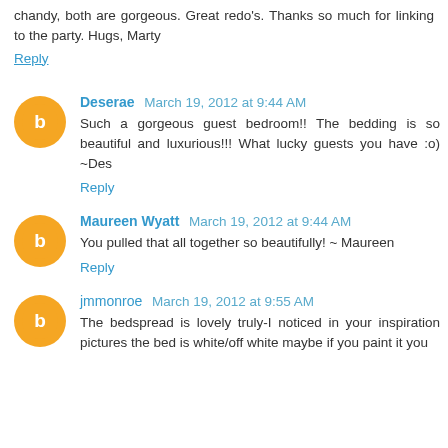chandy, both are gorgeous. Great redo's. Thanks so much for linking to the party. Hugs, Marty
Reply
Deserae  March 19, 2012 at 9:44 AM
Such a gorgeous guest bedroom!! The bedding is so beautiful and luxurious!!! What lucky guests you have :o) ~Des
Reply
Maureen Wyatt  March 19, 2012 at 9:44 AM
You pulled that all together so beautifully! ~ Maureen
Reply
jmmonroe  March 19, 2012 at 9:55 AM
The bedspread is lovely truly-I noticed in your inspiration pictures the bed is white/off white maybe if you paint it you